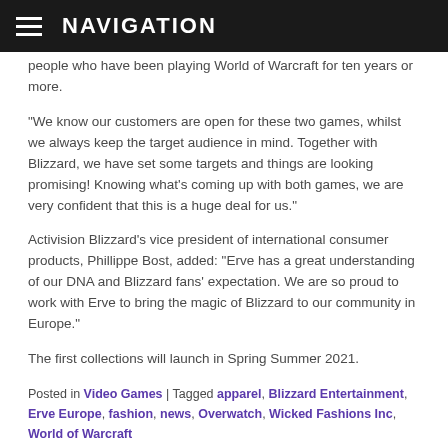NAVIGATION
people who have been playing World of Warcraft for ten years or more.
“We know our customers are open for these two games, whilst we always keep the target audience in mind. Together with Blizzard, we have set some targets and things are looking promising! Knowing what’s coming up with both games, we are very confident that this is a huge deal for us.”
Activision Blizzard’s vice president of international consumer products, Phillippe Bost, added: “Erve has a great understanding of our DNA and Blizzard fans’ expectation. We are so proud to work with Erve to bring the magic of Blizzard to our community in Europe.”
The first collections will launch in Spring Summer 2021.
Posted in Video Games | Tagged apparel, Blizzard Entertainment, Erve Europe, fashion, news, Overwatch, Wicked Fashions Inc, World of Warcraft